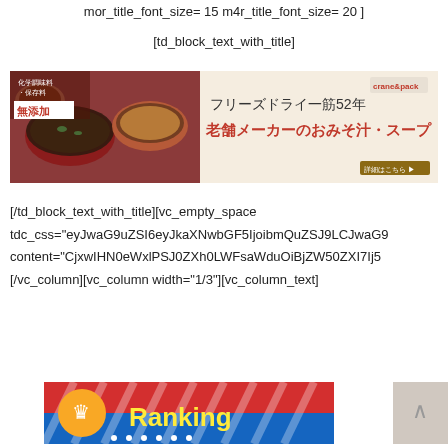mor_title_font_size= 15  m4r_title_font_size= 20 ]
[td_block_text_with_title]
[Figure (photo): Japanese advertisement banner for freeze-dried miso soup/soup products. Left side shows bowls of miso soup with Japanese text reading '化学調味料・保存料 無添加'. Right side on cream background shows Japanese text: フリーズドライ一筋52年 老舗メーカーのおみそ汁・スープ with brand logo and details link.]
[/td_block_text_with_title][vc_empty_space tdc_css="eyJwaG9uZSI6eyJkaXNwbGF5IjoibmQuZSJ9LCJwaG9 content="CjxwIHN0eWxlPSJ0ZXh0LWFsaWduOiBjZW50ZXI7Ij5[/vc_column][vc_column width="1/3"][vc_column_text]
[Figure (other): Ranking banner in red and blue with crown icon and 'Ranking' text in yellow]